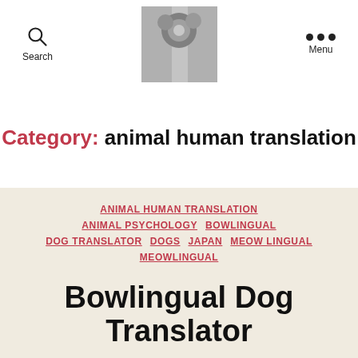Search | [Logo image] | Menu
Category: animal human translation
ANIMAL HUMAN TRANSLATION
ANIMAL PSYCHOLOGY
BOWLINGUAL
DOG TRANSLATOR
DOGS
JAPAN
MEOW LINGUAL
MEOWLINGUAL
Bowlingual Dog Translator